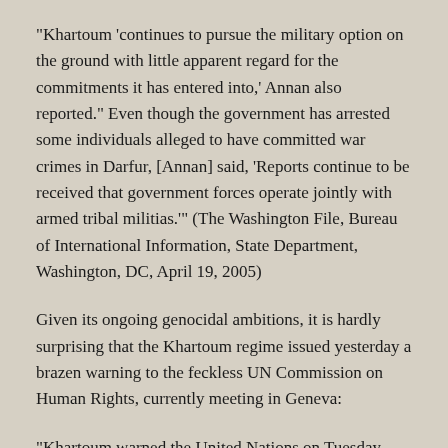“Khartoum ‘continues to pursue the military option on the ground with little apparent regard for the commitments it has entered into,’ Annan also reported.” Even though the government has arrested some individuals alleged to have committed war crimes in Darfur, [Annan] said, ‘Reports continue to be received that government forces operate jointly with armed tribal militias.’” (The Washington File, Bureau of International Information, State Department, Washington, DC, April 19, 2005)
Given its ongoing genocidal ambitions, it is hardly surprising that the Khartoum regime issued yesterday a brazen warning to the feckless UN Commission on Human Rights, currently meeting in Geneva:
“Khartoum warned the United Nations on Tuesday against appointing a special human rights rapporteur for Sudan,